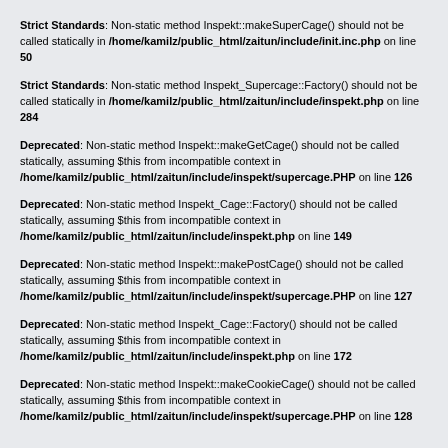Strict Standards: Non-static method Inspekt::makeSuperCage() should not be called statically in /home/kamilz/public_html/zaitun/include/init.inc.php on line 50
Strict Standards: Non-static method Inspekt_Supercage::Factory() should not be called statically in /home/kamilz/public_html/zaitun/include/inspekt.php on line 284
Deprecated: Non-static method Inspekt::makeGetCage() should not be called statically, assuming $this from incompatible context in /home/kamilz/public_html/zaitun/include/inspekt/supercage.PHP on line 126
Deprecated: Non-static method Inspekt_Cage::Factory() should not be called statically, assuming $this from incompatible context in /home/kamilz/public_html/zaitun/include/inspekt.php on line 149
Deprecated: Non-static method Inspekt::makePostCage() should not be called statically, assuming $this from incompatible context in /home/kamilz/public_html/zaitun/include/inspekt/supercage.PHP on line 127
Deprecated: Non-static method Inspekt_Cage::Factory() should not be called statically, assuming $this from incompatible context in /home/kamilz/public_html/zaitun/include/inspekt.php on line 172
Deprecated: Non-static method Inspekt::makeCookieCage() should not be called statically, assuming $this from incompatible context in /home/kamilz/public_html/zaitun/include/inspekt/supercage.PHP on line 128